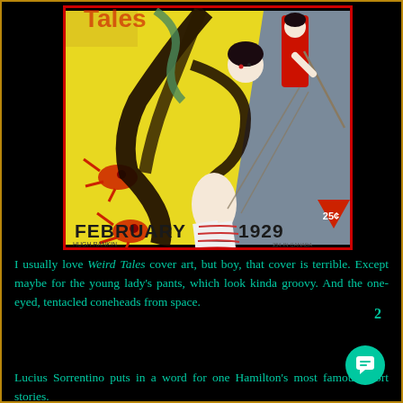[Figure (illustration): Cover of Weird Tales magazine, February 1929, 25 cents. Yellow background with a woman with long dark hair wearing striped pants being attacked, with tentacled one-eyed creatures and a figure in red above. Illustrated by Hugh Rankin.]
I usually love Weird Tales cover art, but boy, that cover is terrible. Except maybe for the young lady's pants, which look kinda groovy. And the one-eyed, tentacled coneheads from space.
Lucius Sorrentino puts in a word for one Hamilton's most famous short stories.